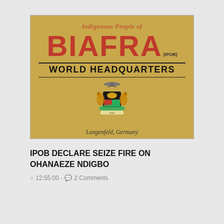[Figure (photo): IPOB (Indigenous People of Biafra) World Headquarters sign on a golden/yellow background. Text reads: 'Indigenous People of' in red italic script at top, then large bold red 'BIAFRA' with '(IPOB)' in small text, then 'WORLD HEADQUARTERS' in large black bold text, with a coat of arms below, and 'Langenfeld, Germany' at the bottom.]
IPOB DECLARE SEIZE FIRE ON OHANAEZE NDIGBO
12:55:00 - 2 Comments